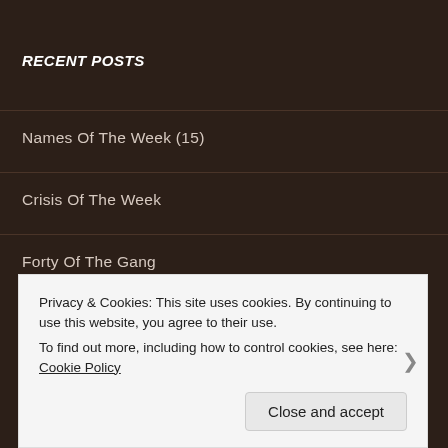RECENT POSTS
Names Of The Week (15)
Crisis Of The Week
Forty Of The Gang
MY WEBSITE
Swimming The English Channel
Privacy & Cookies: This site uses cookies. By continuing to use this website, you agree to their use.
To find out more, including how to control cookies, see here: Cookie Policy
Close and accept